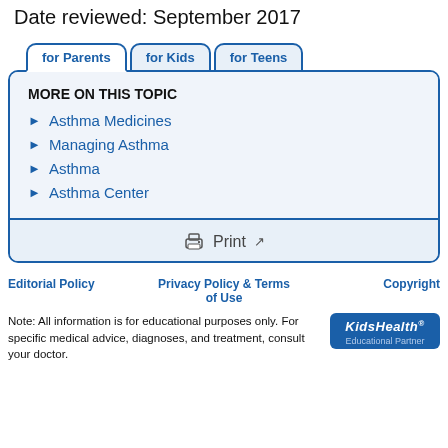Date reviewed: September 2017
MORE ON THIS TOPIC
Asthma Medicines
Managing Asthma
Asthma
Asthma Center
Print
Editorial Policy   Privacy Policy & Terms of Use   Copyright
Note: All information is for educational purposes only. For specific medical advice, diagnoses, and treatment, consult your doctor.